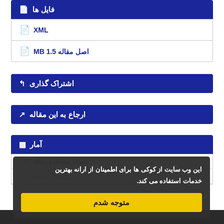فایل ها
XML
اصل مقاله 1.5 MB
اشتراک گذاری
ارجاع به این مقاله
آمار
این وب سایت از کوکی ها برای اطمینان از ارانه بهترین خدمات استفاده می کند.
متوجه شدم